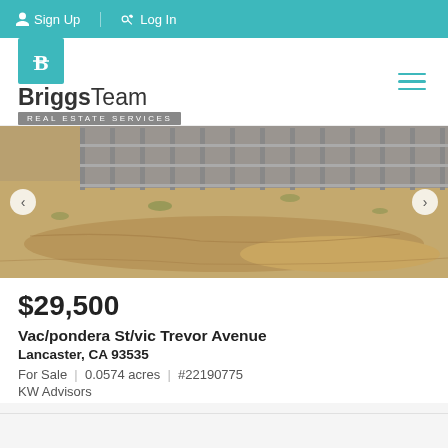Sign Up  Log In
[Figure (logo): BriggsTeam Real Estate Services logo with teal icon]
[Figure (photo): Vacant land lot showing dry dirt/sand terrain with metal fence/wall in background]
$29,500
Vac/pondera St/vic Trevor Avenue
Lancaster, CA 93535
For Sale  |  0.0574 acres  |  #22190775
KW Advisors